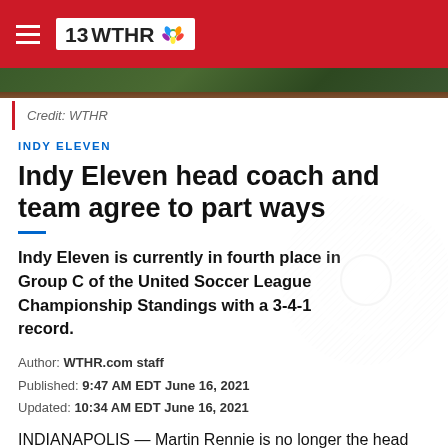13 WTHR
Credit: WTHR
INDY ELEVEN
Indy Eleven head coach and team agree to part ways
Indy Eleven is currently in fourth place in Group C of the United Soccer League Championship Standings with a 3-4-1 record.
Author: WTHR.com staff
Published: 9:47 AM EDT June 16, 2021
Updated: 10:34 AM EDT June 16, 2021
INDIANAPOLIS — Martin Rennie is no longer the head